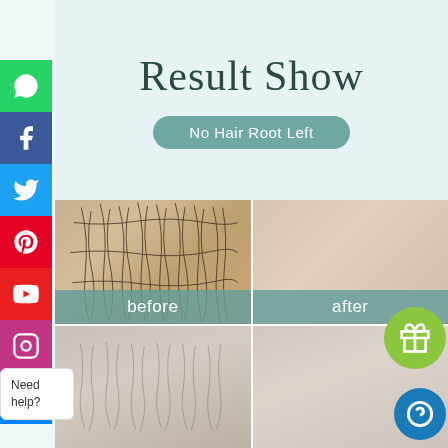Result Show
No Hair Root Left
[Figure (photo): Before and after comparison photos showing hair removal results. Top row: left image shows arm/leg with visible dark hair before treatment; right image shows smooth skin after treatment. Bottom row: additional before/after comparison of leg area with sparse hair before and smooth skin after.]
before
after
Need help?